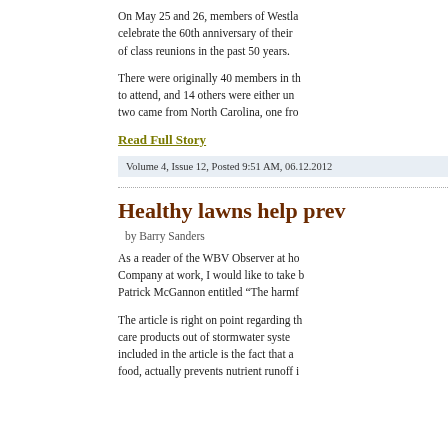On May 25 and 26, members of Westla... celebrate the 60th anniversary of their ... of class reunions in the past 50 years.
There were originally 40 members in th... to attend, and 14 others were either un... two came from North Carolina, one fro...
Read Full Story
Volume 4, Issue 12, Posted 9:51 AM, 06.12.2012
Healthy lawns help prev...
by Barry Sanders
As a reader of the WBV Observer at ho... Company at work, I would like to take b... Patrick McGannon entitled “The harmf...
The article is right on point regarding th... care products out of stormwater syste... included in the article is the fact that a ... food, actually prevents nutrient runoff i...